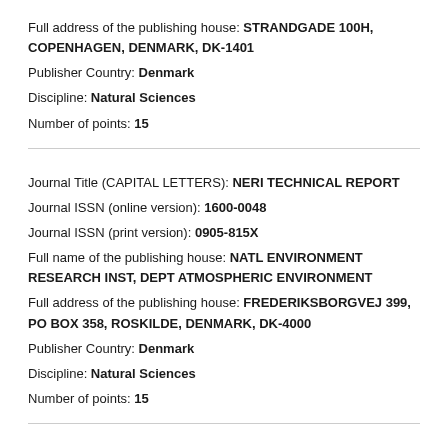Full address of the publishing house: STRANDGADE 100H, COPENHAGEN, DENMARK, DK-1401
Publisher Country: Denmark
Discipline: Natural Sciences
Number of points: 15
Journal Title (CAPITAL LETTERS): NERI TECHNICAL REPORT
Journal ISSN (online version): 1600-0048
Journal ISSN (print version): 0905-815X
Full name of the publishing house: NATL ENVIRONMENT RESEARCH INST, DEPT ATMOSPHERIC ENVIRONMENT
Full address of the publishing house: FREDERIKSBORGVEJ 399, PO BOX 358, ROSKILDE, DENMARK, DK-4000
Publisher Country: Denmark
Discipline: Natural Sciences
Number of points: 15